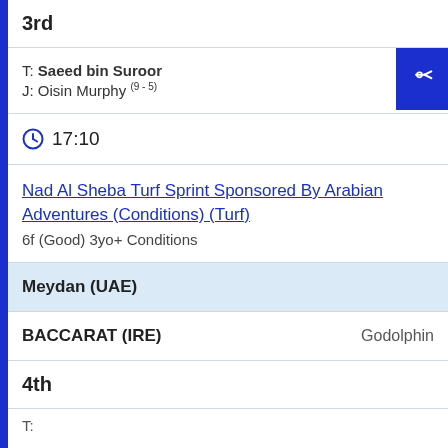3rd
T: Saeed bin Suroor
J: Oisin Murphy (9-5)
17:10
Nad Al Sheba Turf Sprint Sponsored By Arabian Adventures (Conditions) (Turf)
6f (Good) 3yo+ Conditions
Meydan (UAE)
BACCARAT (IRE)    Godolphin
4th